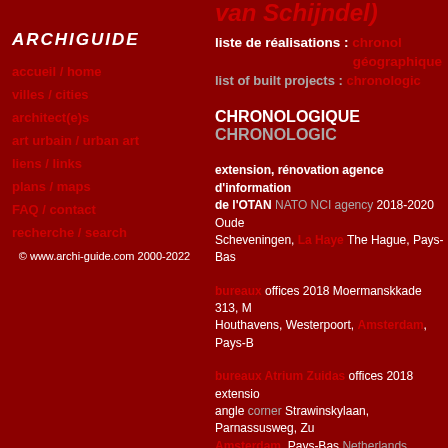van Schijndel)
ARCHIGUIDE
accueil / home
villes / cities
architect(e)s
art urbain / urban art
liens / links
plans / maps
FAQ / contact
recherche / search
© www.archi-guide.com 2000-2022
liste de réalisations : chronologique géographique
list of built projects : chronologique
CHRONOLOGIQUE CHRONOLOGIC
extension, rénovation agence d'information de l'OTAN NATO NCI agency 2018-2020 Oude Scheveningen, La Haye The Hague, Pays-Bas
bureaux offices 2018 Moermanskkade 313, Houthavens, Westerpoort, Amsterdam, Pays-B
bureaux Atrium Zuidas offices 2018 extension angle corner Strawinskylaan, Parnassusweg, Zuidas Amsterdam, Pays-Bas Netherlands
rénovation bureaux Rivierstaete offices 2018 Maaskant) angle corner Trompenburgstraat 2, Amsterdam, Pays-Bas Netherlands